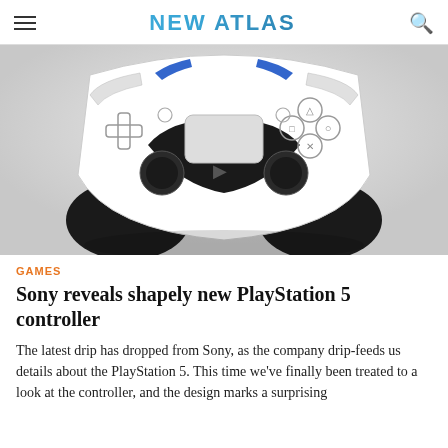NEW ATLAS
[Figure (photo): PlayStation 5 DualSense controller shown from the front against a white/gray background. The controller is white and black with blue accent lighting, featuring dual analog sticks, a D-pad, face buttons (triangle, circle, cross, square), touchpad, and the PlayStation logo.]
GAMES
Sony reveals shapely new PlayStation 5 controller
The latest drip has dropped from Sony, as the company drip-feeds us details about the PlayStation 5. This time we've finally been treated to a look at the controller, and the design marks a surprising